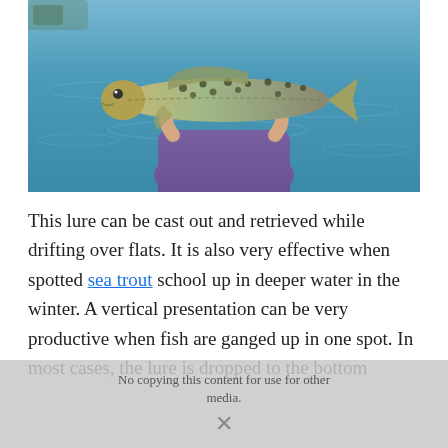[Figure (photo): A person in a purple sleeveless top holding a large spotted sea trout (speckled trout) with both hands, with blue water in the background.]
This lure can be cast out and retrieved while drifting over flats. It is also very effective when spotted sea trout school up in deeper water in the winter. A vertical presentation can be very productive when fish are ganged up in one spot. In most cases, the lure is dropped to the bottom